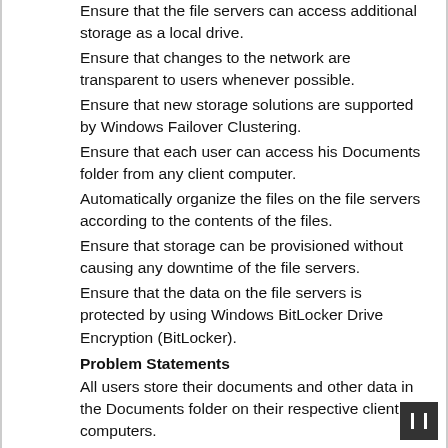Ensure that the file servers can access additional storage as a local drive.
Ensure that changes to the network are transparent to users whenever possible.
Ensure that new storage solutions are supported by Windows Failover Clustering.
Ensure that each user can access his Documents folder from any client computer.
Automatically organize the files on the file servers according to the contents of the files.
Ensure that storage can be provisioned without causing any downtime of the file servers.
Ensure that the data on the file servers is protected by using Windows BitLocker Drive Encryption (BitLocker).
Problem Statements
All users store their documents and other data in the Documents folder on their respective client computers.